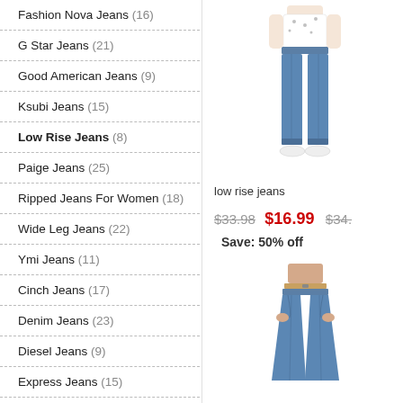Fashion Nova Jeans (16)
G Star Jeans (21)
Good American Jeans (9)
Ksubi Jeans (15)
Low Rise Jeans (8)
Paige Jeans (25)
Ripped Jeans For Women (18)
Wide Leg Jeans (22)
Ymi Jeans (11)
Cinch Jeans (17)
Denim Jeans (23)
Diesel Jeans (9)
Express Jeans (15)
Gap Jeans (15)
Girbaud Jeans (8)
[Figure (photo): Model wearing low rise straight-leg blue jeans with white sneakers and polka dot top]
low rise jeans
$33.98   $16.99   $34.  Save: 50% off
[Figure (photo): Model wearing low rise flare blue jeans with belt]